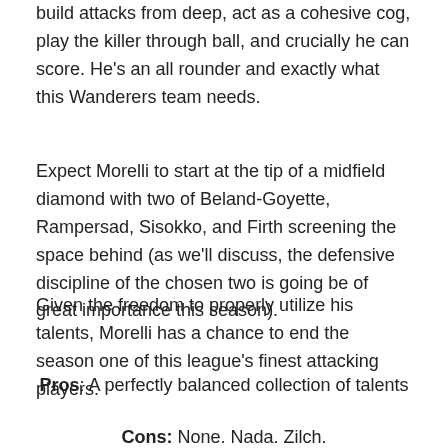build attacks from deep, act as a cohesive cog, play the killer through ball, and crucially he can score. He's an all rounder and exactly what this Wanderers team needs.
Expect Morelli to start at the tip of a midfield diamond with two of Beland-Goyette, Rampersad, Sisokko, and Firth screening the space behind (as we'll discuss, the defensive discipline of the chosen two is going be of great importance this season).
Given the freedom to properly utilize his talents, Morelli has a chance to end the season one of this league's finest attacking players.
Pros: A perfectly balanced collection of talents
Cons: None. Nada. Zilch.